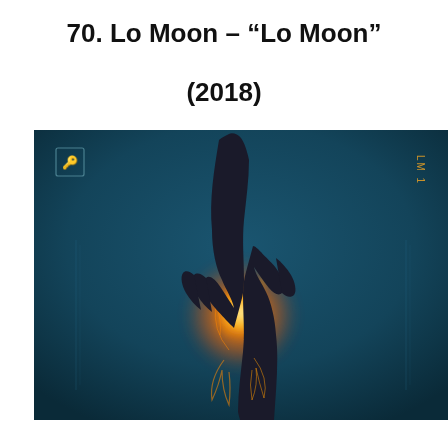70. Lo Moon – “Lo Moon”
(2018)
[Figure (photo): Album cover art for Lo Moon self-titled album (2018). Dark teal/blue background with two dark hands reaching toward each other, cupping a glowing orange flame or energy orb. Small rectangular icon in upper left, gold 'LM 1' text in upper right. Faint vertical lines and small text along both sides.]